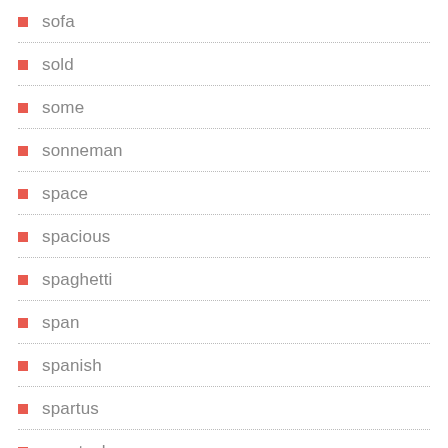sofa
sold
some
sonneman
space
spacious
spaghetti
span
spanish
spartus
spectacles